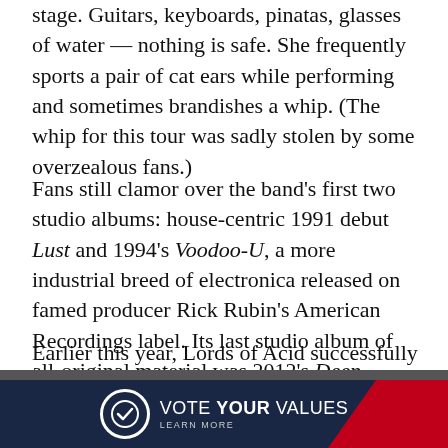stage. Guitars, keyboards, pinatas, glasses of water — nothing is safe. She frequently sports a pair of cat ears while performing and sometimes brandishes a whip. (The whip for this tour was sadly stolen by some overzealous fans.)
Fans still clamor over the band's first two studio albums: house-centric 1991 debut Lust and 1994's Voodoo-U, a more industrial breed of electronica released on famed producer Rick Rubin's American Recordings label. Its last studio album of all-original material was 2012's Deep Chills.
Earlier this year, Lords of Acid successfully completed its first crowdfunding campaign for an in-progress project titled Pretty in Kink. Supporters from around the world
[Figure (other): Advertisement banner: dark navy background with red diagonal stripe on right. White circle with checkmark logo on left. Text reads 'VOTE YOUR VALUES' with 'LEARN MORE' below in smaller caps.]